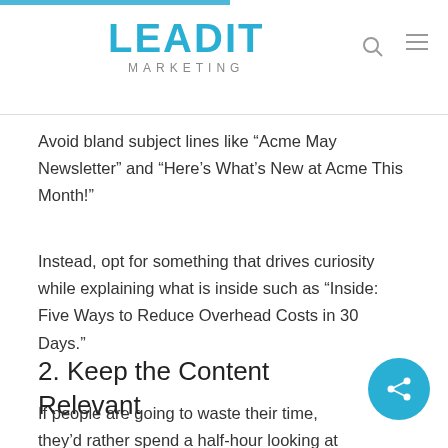LEADIT MARKETING
Avoid bland subject lines like “Acme May Newsletter” and “Here’s What’s New at Acme This Month!”
Instead, opt for something that drives curiosity while explaining what is inside such as “Inside: Five Ways to Reduce Overhead Costs in 30 Days.”
2. Keep the Content Relevant
If people are going to waste their time, they’d rather spend a half-hour looking at funny cat